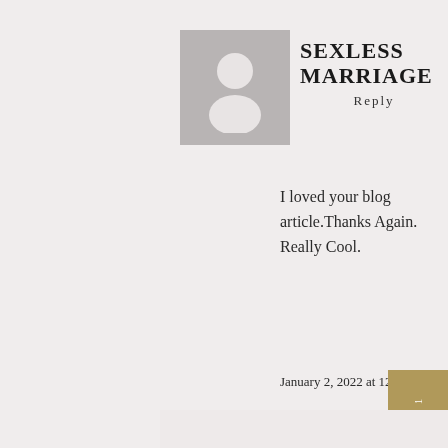[Figure (illustration): Generic user avatar silhouette on grey background]
SEXLESS MARRIAGE
Reply
I loved your blog article.Thanks Again. Really Cool.
January 2, 2022 at 12:57 pm